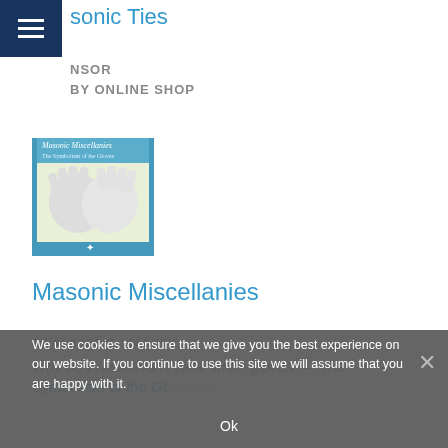Masonic Ties
NSOR
BY ONLINE SHOP
[Figure (photo): Book cover of Masonic Miscellanies: The Symbolism of the Gloves, showing white gloves on a light background with blue border and Masonic symbol at bottom.]
Masonic Miscellanies
BY ALBERT G. MACKEY
Why do Freemasons wear white gloves? – The Symbolism of the Gl...
We use cookies to ensure that we give you the best experience on our website. If you continue to use this site we will assume that you are happy with it.
Ok